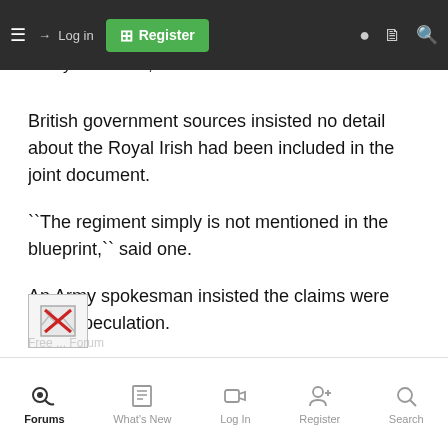leading role which it played in blunting the threat, is to be finally sacrificed,`` he claimed.
British government sources insisted no detail about the Royal Irish had been included in the joint document.
``The regiment simply is not mentioned in the blueprint,`` said one.
An Army spokesman insisted the claims were mere speculation.
He added: ``The Ministry of Defence is determined to proceed with further normalisation measures as soon as the level of threat allows.``
[Figure (other): Broken image icon with red X]
Forums | What's New | Log In | Register | Search